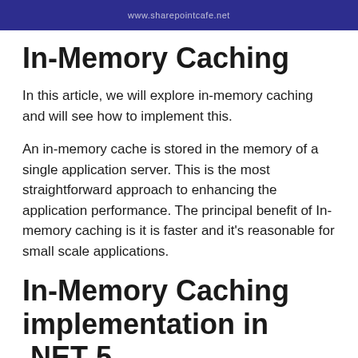www.sharepointcafe.net
In-Memory Caching
In this article, we will explore in-memory caching and will see how to implement this.
An in-memory cache is stored in the memory of a single application server. This is the most straightforward approach to enhancing the application performance. The principal benefit of In-memory caching is it is faster and it's reasonable for small scale applications.
In-Memory Caching implementation in .NET 5